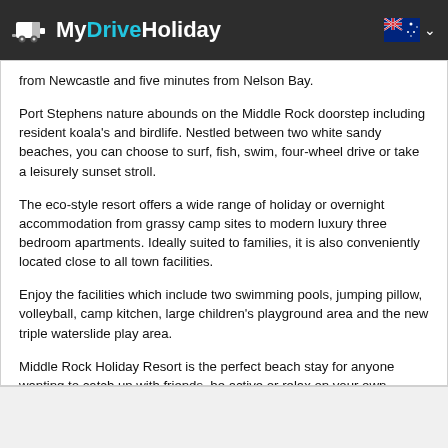MyDriveHoliday
from Newcastle and five minutes from Nelson Bay.
Port Stephens nature abounds on the Middle Rock doorstep including resident koala's and birdlife. Nestled between two white sandy beaches, you can choose to surf, fish, swim, four-wheel drive or take a leisurely sunset stroll.
The eco-style resort offers a wide range of holiday or overnight accommodation from grassy camp sites to modern luxury three bedroom apartments. Ideally suited to families, it is also conveniently located close to all town facilities.
Enjoy the facilities which include two swimming pools, jumping pillow, volleyball, camp kitchen, large children's playground area and the new triple waterslide play area.
Middle Rock Holiday Resort is the perfect beach stay for anyone wanting to catch up with friends, be active or relax on your own.